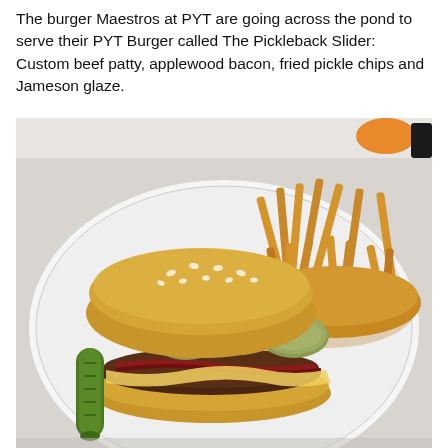The burger Maestros at PYT are going across the pond to serve their PYT Burger called The Pickleback Slider: Custom beef patty, applewood bacon, fried pickle chips and Jameson glaze.
[Figure (photo): A large burger on a white plate served with a pile of french fries. The burger has a sesame seed bun, fried pickle chips on top, melted cheese, bacon, and a beef patty. A whole pickle is visible on the left side of the plate.]